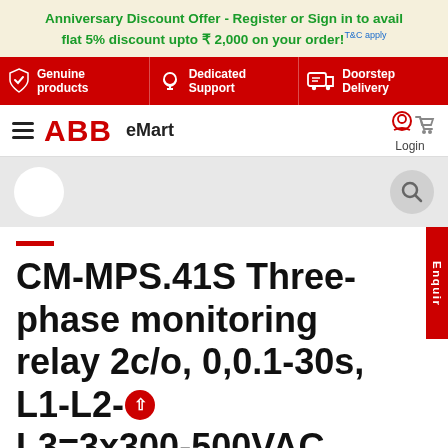Anniversary Discount Offer - Register or Sign in to avail flat 5% discount upto ₹ 2,000 on your order! T&C apply
[Figure (infographic): Red banner with three feature icons: Genuine products (shield icon), Dedicated Support (headset icon), Doorstep Delivery (delivery icon)]
[Figure (logo): ABB eMart navigation bar with hamburger menu, ABB red logo, eMart text, Login icon and cart icon]
[Figure (screenshot): Search area with white circle button on left and grey search icon on right]
CM-MPS.41S Three-phase monitoring relay 2c/o, 0,0.1-30s, L1-L2-L3=3x300-500VAC